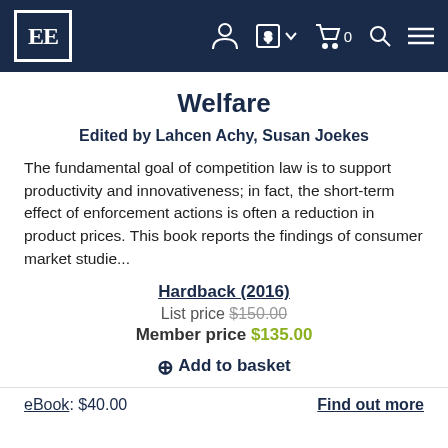EE [logo] navigation bar with icons
Welfare
Edited by Lahcen Achy, Susan Joekes
The fundamental goal of competition law is to support productivity and innovativeness; in fact, the short-term effect of enforcement actions is often a reduction in product prices. This book reports the findings of consumer market studie...
Hardback (2016)
List price $150.00
Member price $135.00
⊕ Add to basket
eBook: $40.00
Find out more